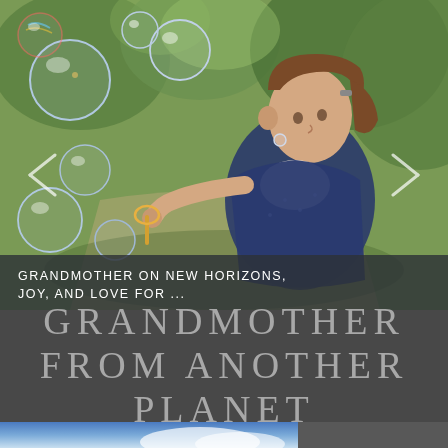[Figure (photo): A young girl blowing soap bubbles outdoors in a park. She is wearing a navy blue vest and holding a bubble wand. Many iridescent bubbles float around her. Green trees are visible in the background.]
GRANDMOTHER ON NEW HORIZONS, JOY, AND LOVE FOR ...
GRANDMOTHER FROM ANOTHER PLANET
[Figure (other): Hamburger menu icon (three horizontal lines)]
[Figure (photo): Bottom strip showing sky with clouds, partially visible]